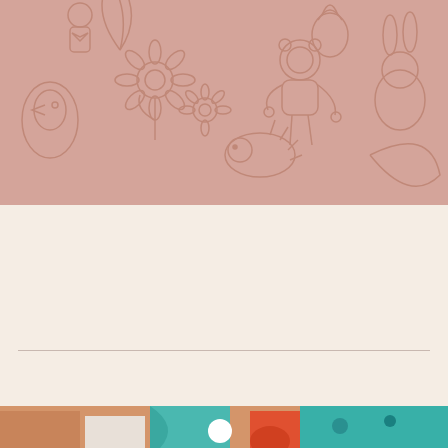[Figure (illustration): Pink background with outline doodle illustrations of various characters and elements: animals, flowers (sunflowers), a astronaut/cosmonaut figure, birds, a hedgehog, and other playful cartoon-style line drawings in a darker pink/rose color on a dusty pink background.]
[Figure (illustration): Cream/off-white blank area in the middle section of the page, used as a content placeholder area.]
[Figure (illustration): Bottom strip showing colorful abstract or toy-related imagery with warm earth tones, teal, orange, red, and white circular shapes visible at the very bottom edge of the page.]